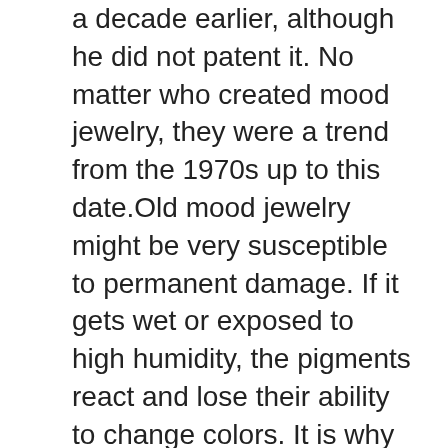a decade earlier, although he did not patent it. No matter who created mood jewelry, they were a trend from the 1970s up to this date.Old mood jewelry might be very susceptible to permanent damage. If it gets wet or exposed to high humidity, the pigments react and lose their ability to change colors. It is why mood stones used as beads are usually coated with a polymer to protect them from damages.The color changes follow a predictable pattern, but the only way to know what color represents an emotion is experimentation. Even then, it will still display inaccurate colors since a single bead may display many colors at once.The meaning of the colors in a piece of mood jewelry vary because they contain different liquid crystals. It means that other mood necklaces can exhibit different colors and respond differently to the skin's heat. Follow this guide to know what may be the meaning of the colors in your mood necklace.